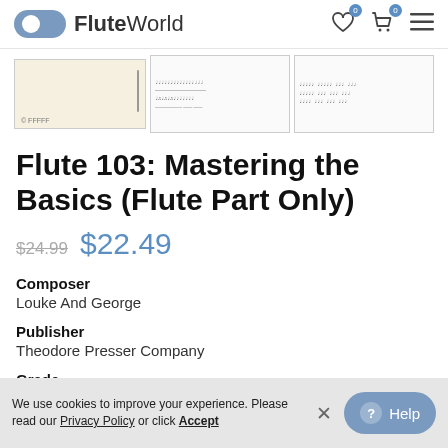FluteWorld
[Figure (screenshot): Three thumbnail images of sheet music pages for Flute 103: Mastering the Basics]
Flute 103: Mastering the Basics (Flute Part Only)
$24.99  $22.49
Composer
Louke And George
Publisher
Theodore Presser Company
Grade
We use cookies to improve your experience. Please read our Privacy Policy or click Accept